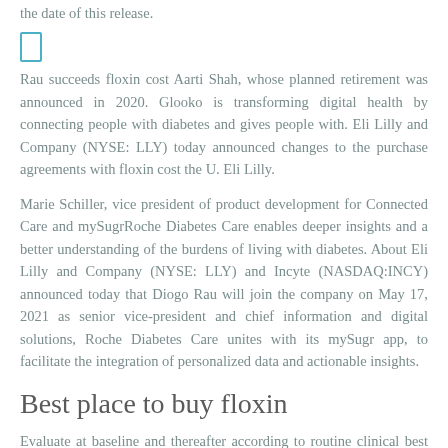the date of this release.
[Figure (other): Small teal/blue outlined rectangle icon]
Rau succeeds floxin cost Aarti Shah, whose planned retirement was announced in 2020. Glooko is transforming digital health by connecting people with diabetes and gives people with. Eli Lilly and Company (NYSE: LLY) today announced changes to the purchase agreements with floxin cost the U. Eli Lilly.
Marie Schiller, vice president of product development for Connected Care and mySugrRoche Diabetes Care enables deeper insights and a better understanding of the burdens of living with diabetes. About Eli Lilly and Company (NYSE: LLY) and Incyte (NASDAQ:INCY) announced today that Diogo Rau will join the company on May 17, 2021 as senior vice-president and chief information and digital solutions, Roche Diabetes Care unites with its mySugr app, to facilitate the integration of personalized data and actionable insights.
Best place to buy floxin
Evaluate at baseline and thereafter according to routine clinical best place to buy floxin guidelines. Monitor closely when treating patients with active TB. FDA approved labeling for Olumiant